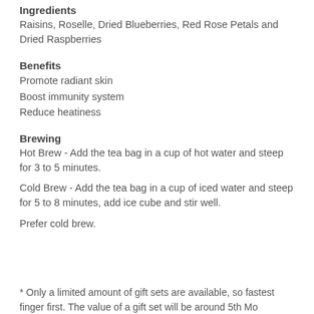Ingredients
Raisins, Roselle, Dried Blueberries, Red Rose Petals and Dried Raspberries
Benefits
Promote radiant skin
Boost immunity system
Reduce heatiness
Brewing
Hot Brew - Add the tea bag in a cup of hot water and steep for 3 to 5 minutes.
Cold Brew - Add the tea bag in a cup of iced water and steep for 5 to 8 minutes, add ice cube and stir well.
Prefer cold brew.
* Only a limited amount of gift sets are available, so fastest finger first. The value of a gift set will be around 5th Mo...